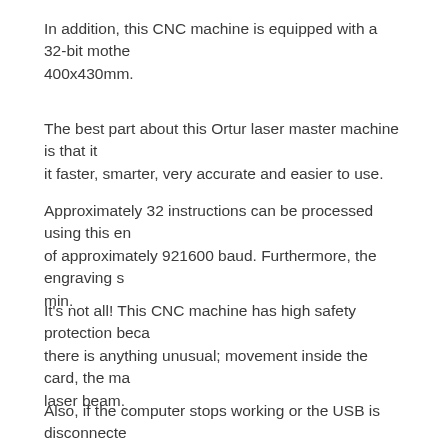In addition, this CNC machine is equipped with a 32-bit mothe 400x430mm.
The best part about this Ortur laser master machine is that it it faster, smarter, very accurate and easier to use.
Approximately 32 instructions can be processed using this en of approximately 921600 baud. Furthermore, the engraving s min.
It's not all! This CNC machine has high safety protection beca there is anything unusual; movement inside the card, the ma laser beam.
Also, if the computer stops working or the USB is disconnecte and prevent fmo. If you keep working on the laser engraving i